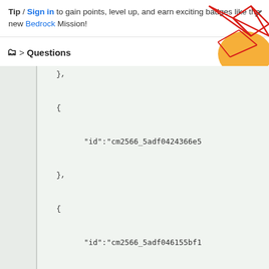Tip / Sign in to gain points, level up, and earn exciting badges like the new Bedrock Mission!
Questions
[Figure (screenshot): Decorative geometric shapes: red polygon outlines and orange filled shape in top-right corner]
},
{
    "id":"cm2566_5adf0424366e5
},
{
    "id":"cm2566_5adf046155bf1
},
{
    "id":"cm2566_5a4ba8b31d845